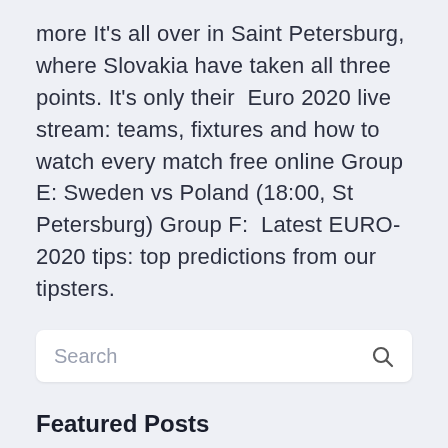more It's all over in Saint Petersburg, where Slovakia have taken all three points. It's only their  Euro 2020 live stream: teams, fixtures and how to watch every match free online Group E: Sweden vs Poland (18:00, St Petersburg) Group F:  Latest EURO-2020 tips: top predictions from our tipsters.
Search
Featured Posts